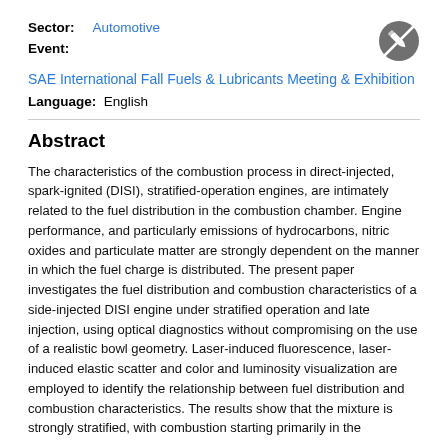Sector: Automotive
Event:
SAE International Fall Fuels & Lubricants Meeting & Exhibition
Language: English
Abstract
The characteristics of the combustion process in direct-injected, spark-ignited (DISI), stratified-operation engines, are intimately related to the fuel distribution in the combustion chamber. Engine performance, and particularly emissions of hydrocarbons, nitric oxides and particulate matter are strongly dependent on the manner in which the fuel charge is distributed. The present paper investigates the fuel distribution and combustion characteristics of a side-injected DISI engine under stratified operation and late injection, using optical diagnostics without compromising on the use of a realistic bowl geometry. Laser-induced fluorescence, laser-induced elastic scatter and color and luminosity visualization are employed to identify the relationship between fuel distribution and combustion characteristics. The results show that the mixture is strongly stratified, with combustion starting primarily in the